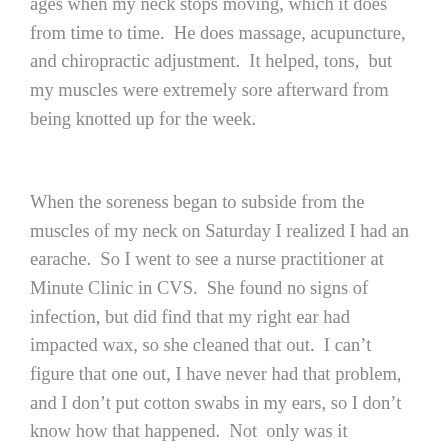ages when my neck stops moving, which it does from time to time.  He does massage, acupuncture, and chiropractic adjustment.  It helped, tons,  but my muscles were extremely sore afterward from being knotted up for the week.
When the soreness began to subside from the muscles of my neck on Saturday I realized I had an earache.  So I went to see a nurse practitioner at Minute Clinic in CVS.  She found no signs of infection, but did find that my right ear had impacted wax, so she cleaned that out.  I can't figure that one out, I have never had that problem, and I don't put cotton swabs in my ears, so I don't know how that happened.  Not  only was it embarrassing, it hurt.  She wrote a prescription for some numbing ear drops and